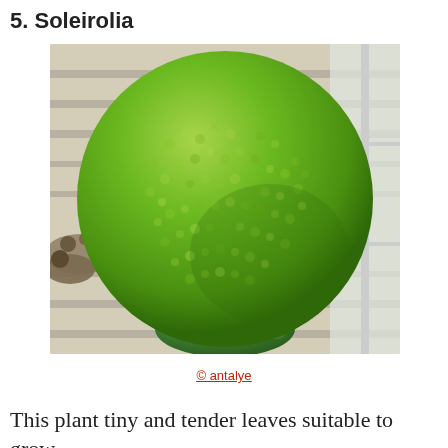5. Soleirolia
[Figure (photo): A large, round, lush ball of tiny bright green Soleirolia (mind-your-own-business) plant leaves, sitting in a green pot on a greenhouse shelf with wooden slat background and window light visible.]
© antalye
This plant tiny and tender leaves suitable to grow